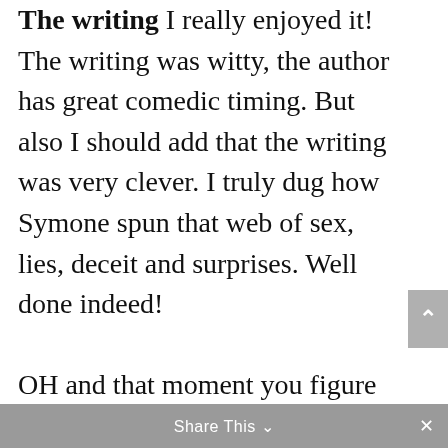The writing I really enjoyed it! The writing was witty, the author has great comedic timing. But also I should add that the writing was very clever. I truly dug how Symone spun that web of sex, lies, deceit and surprises. Well done indeed!

OH and that moment you figure out who the mystery man is... G A S P S... I swear it will make you read the book all over. LOL!
Share This ∨  ×